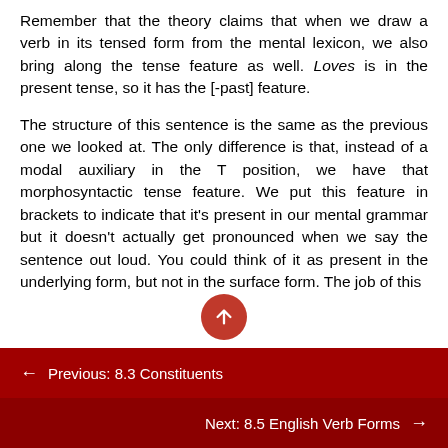Remember that the theory claims that when we draw a verb in its tensed form from the mental lexicon, we also bring along the tense feature as well. Loves is in the present tense, so it has the [-past] feature.
The structure of this sentence is the same as the previous one we looked at. The only difference is that, instead of a modal auxiliary in the T position, we have that morphosyntactic tense feature. We put this feature in brackets to indicate that it's present in our mental grammar but it doesn't actually get pronounced when we say the sentence out loud. You could think of it as present in the underlying form, but not in the surface form. The job of this
← Previous: 8.3 Constituents
Next: 8.5 English Verb Forms →